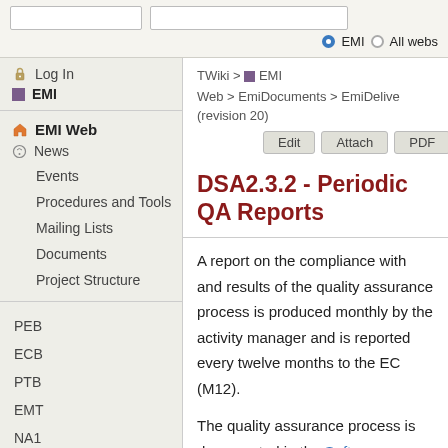[search box] [search box] ● EMI ○ All webs
Log In
EMI
EMI Web
News
Events
Procedures and Tools
Mailing Lists
Documents
Project Structure
PEB
ECB
PTB
EMT
NA1
NA2
NA3
SA1
SA2
TWiki > ■ EMI Web > EmiDocuments > EmiDelive (revision 20)
Edit   Attach   PDF
DSA2.3.2 - Periodic QA Reports
A report on the compliance with and results of the quality assurance process is produced monthly by the activity manager and is reported every twelve months to the EC (M12).
The quality assurance process is documented in the Software